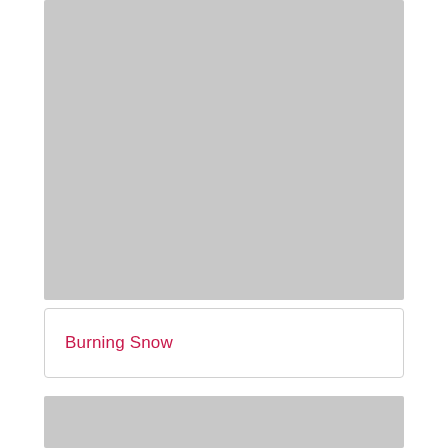[Figure (photo): Gray placeholder image rectangle at top of page]
Burning Snow
[Figure (photo): Gray placeholder image rectangle at bottom of page, partially visible]